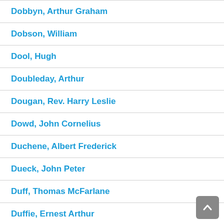Dobbyn, Arthur Graham
Dobson, William
Dool, Hugh
Doubleday, Arthur
Dougan, Rev. Harry Leslie
Dowd, John Cornelius
Duchene, Albert Frederick
Dueck, John Peter
Duff, Thomas McFarlane
Duffie, Ernest Arthur